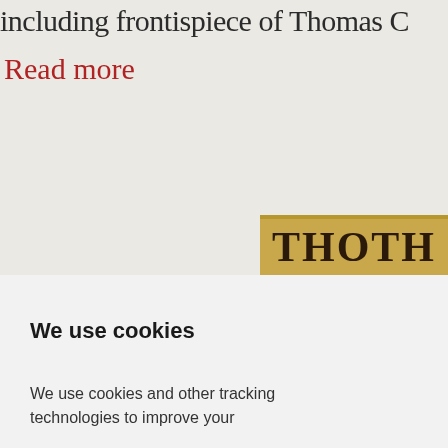including frontispiece of Thomas C
Read more
[Figure (photo): A book spine showing the text 'THOTH' in large serif letters on a golden/tan background]
We use cookies
We use cookies and other tracking technologies to improve your